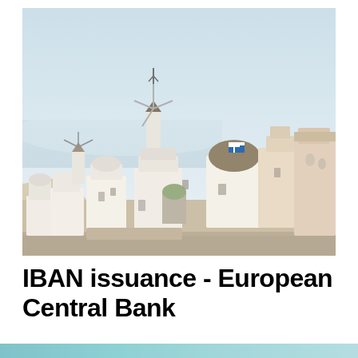[Figure (photo): Photograph of Santorini, Greece — white-washed cubic buildings cascading down hillside, windmill with tall antenna mast, Greek flag on a dome-roofed church, blue-green sea and pale sky in background.]
IBAN issuance - European Central Bank
[Figure (photo): Partial bottom strip showing beginning of another image — appears to show teal/blue-green toned imagery, likely continuation of page.]